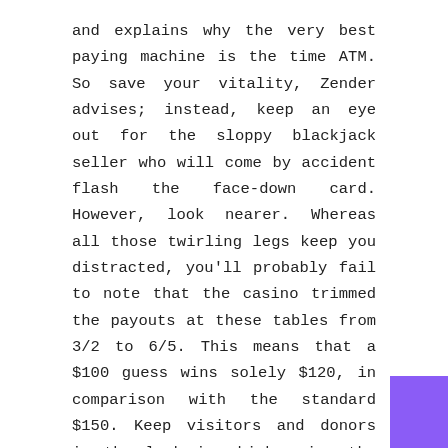and explains why the very best paying machine is the time ATM. So save your vitality, Zender advises; instead, keep an eye out for the sloppy blackjack seller who will come by accident flash the face-down card. However, look nearer. Whereas all those twirling legs keep you distracted, you'll probably fail to note that the casino trimmed the payouts at these tables from 3/2 to 6/5. This means that a $100 guess wins solely $120, in comparison with the standard $150. Keep visitors and donors in the look in which using the occasion with how a lot of money you have got raised to this point.
This is an inexpensive tip on accumulator betting. It balances the danger aspect between supporting many short odds favorites for a bit of reward and backing bigger odds groups with increased PG Slot